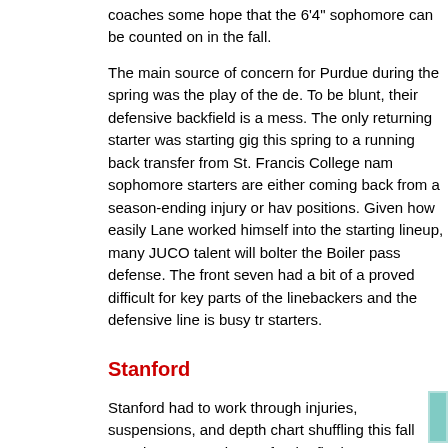coaches some hope that the 6'4" sophomore can be counted on in the fall.
The main source of concern for Purdue during the spring was the play of the de. To be blunt, their defensive backfield is a mess. The only returning starter was starting gig this spring to a running back transfer from St. Francis College nam sophomore starters are either coming back from a season-ending injury or hav positions. Given how easily Lane worked himself into the starting lineup, many JUCO talent will bolter the Boiler pass defense. The front seven had a bit of a proved difficult for key parts of the linebackers and the defensive line is busy tr starters.
Stanford
Stanford had to work through injuries, suspensions, and depth chart shuffling this fall to arrive at a starting 22 for the final scrimmage. Two team leaders, starting tight end Matt Traverso and starting strong safety Brandon Harrison, were both suspended for the spring which opened up competition for their spots. One time ND recruit Erik Lorig fought back from an early injury to impress in one scrimmage at tight end only to get hit with the injury bug again and be sidelined again.
At quarterback, Trent Edwards had a solid spring and should be one of the best quarterbacks that ND will face next year. Edwards will also have two of the better receivers as well in targets Mark Bradford and 6'7" Evan Moore (right), who missed the Notre Dame game last year due to injury. The offensive line that allowed so many sacks last season is all back, but